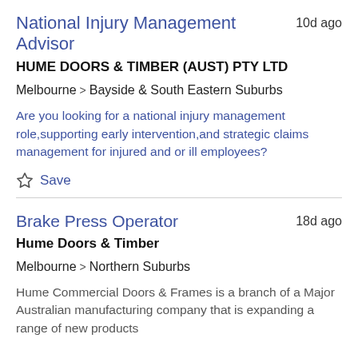National Injury Management Advisor
10d ago
HUME DOORS & TIMBER (AUST) PTY LTD
Melbourne > Bayside & South Eastern Suburbs
Are you looking for a national injury management role,supporting early intervention,and strategic claims management for injured and or ill employees?
Save
Brake Press Operator
18d ago
Hume Doors & Timber
Melbourne > Northern Suburbs
Hume Commercial Doors & Frames is a branch of a Major Australian manufacturing company that is expanding a range of new products